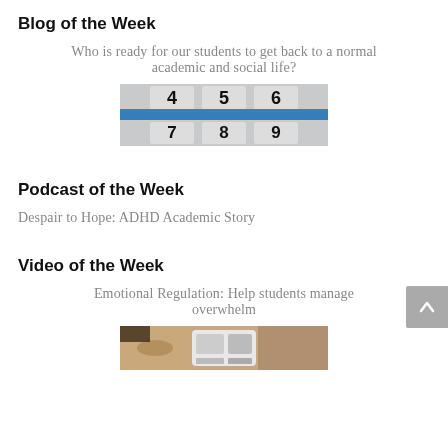Blog of the Week
Who is ready for our students to get back to a normal academic and social life?
[Figure (photo): Close-up photo of numbered tiles/slots showing digits 4, 5, 6 on top row and 7, 8, 9 on bottom row, with a blue horizontal stripe across the middle.]
Podcast of the Week
Despair to Hope: ADHD Academic Story
Video of the Week
Emotional Regulation: Help students manage overwhelm
[Figure (photo): Partial photo showing a person's face and a hand holding a phone/tablet with images on screen.]